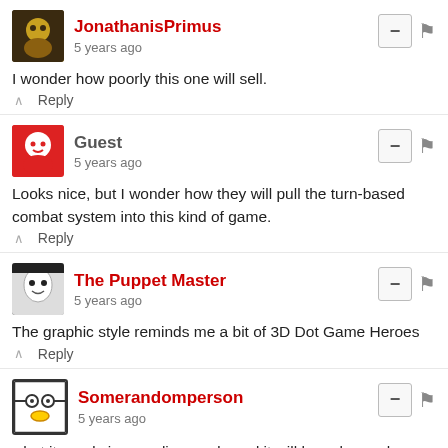JonathanisPrimus
5 years ago
I wonder how poorly this one will sell.
↑  Reply
Guest
5 years ago
Looks nice, but I wonder how they will pull the turn-based combat system into this kind of game.
↑  Reply
The Puppet Master
5 years ago
The graphic style reminds me a bit of 3D Dot Game Heroes
↑  Reply
Somerandomperson
5 years ago
what it needs is an online mode and it will have longer legs
↑  Reply
Mozendo